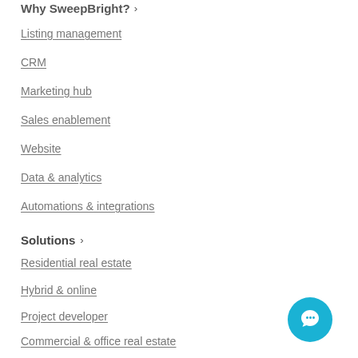Why SweepBright? ›
Listing management
CRM
Marketing hub
Sales enablement
Website
Data & analytics
Automations & integrations
Solutions ›
Residential real estate
Hybrid & online
Project developer
Commercial & office real estate
Resources ›
Blog